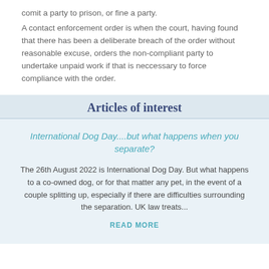comit a party to prison, or fine a party.
A contact enforcement order is when the court, having found that there has been a deliberate breach of the order without reasonable excuse, orders the non-compliant party to undertake unpaid work if that is neccessary to force compliance with the order.
Articles of interest
International Dog Day....but what happens when you separate?
The 26th August 2022 is International Dog Day. But what happens to a co-owned dog, or for that matter any pet, in the event of a couple splitting up, especially if there are difficulties surrounding the separation. UK law treats...
READ MORE